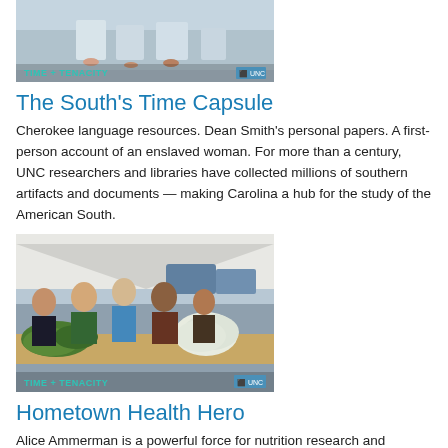[Figure (photo): Time + Tenacity branded image showing people seated, with UNC logo overlay at bottom]
The South's Time Capsule
Cherokee language resources. Dean Smith's personal papers. A first-person account of an enslaved woman. For more than a century, UNC researchers and libraries have collected millions of southern artifacts and documents — making Carolina a hub for the study of the American South.
[Figure (photo): Time + Tenacity branded image showing a group of people at a farmers market with fresh vegetables, with UNC logo overlay at bottom]
Hometown Health Hero
Alice Ammerman is a powerful force for nutrition research and community-based health promotion. Her nearly 40-year career